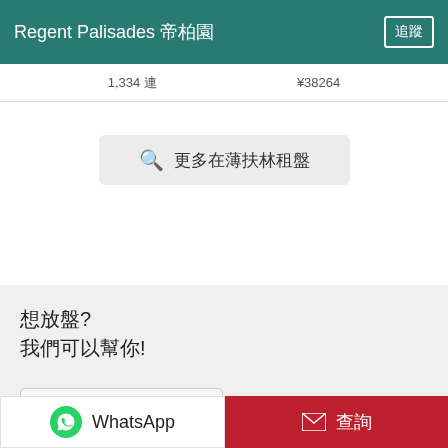Regent Palisades 帝柏園  追蹤
1,334 連  ¥38264
🔍 更多在薄扶林租盤
想放盤?
我們可以幫你!
馬上找到買家/租客!
聯絡+852 2102 0888
WhatsApp
查詢